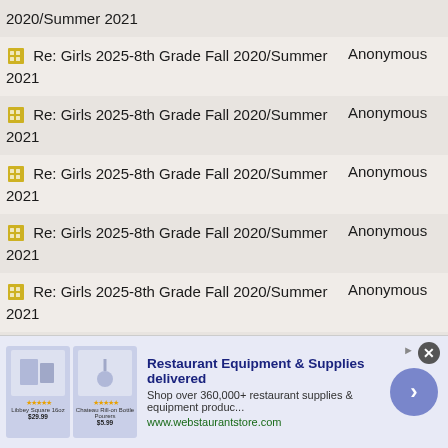| Subject | Author |
| --- | --- |
| 2020/Summer 2021 |  |
| Re: Girls 2025-8th Grade Fall 2020/Summer 2021 | Anonymous |
| Re: Girls 2025-8th Grade Fall 2020/Summer 2021 | Anonymous |
| Re: Girls 2025-8th Grade Fall 2020/Summer 2021 | Anonymous |
| Re: Girls 2025-8th Grade Fall 2020/Summer 2021 | Anonymous |
| Re: Girls 2025-8th Grade Fall 2020/Summer 2021 | Anonymous |
| Re: Girls 2025-8th Grade Fall 2020/Summer 2021 | Anonymous |
| Re: Girls 2025-8th Grade Fall 2020/Summer 2021 | Anonymous |
| Re: Girls 2025-8th Grade Fall ... | Anonymous |
[Figure (infographic): Advertisement banner: Restaurant Equipment & Supplies delivered. Shop over 360,000+ restaurant supplies & equipment produc... www.webstaurantstore.com. Shows product images with star ratings. Has a close (X) button and a forward arrow button.]